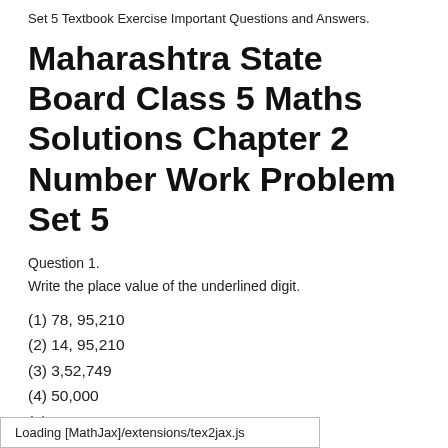Set 5 Textbook Exercise Important Questions and Answers.
Maharashtra State Board Class 5 Maths Solutions Chapter 2 Number Work Problem Set 5
Question 1.
Write the place value of the underlined digit.
(1) 78, 95,210
(2) 14, 95,210
(3) 3,52,749
(4) 50,000
(5) 89, 99,988
Loading [MathJax]/extensions/tex2jax.js